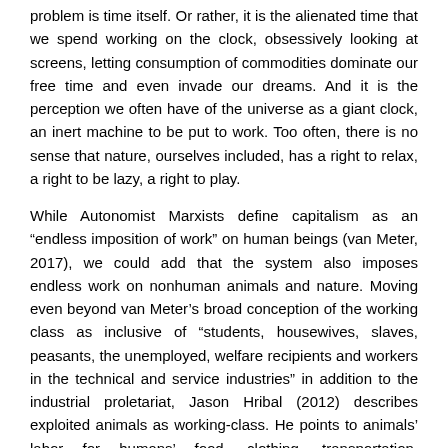problem is time itself. Or rather, it is the alienated time that we spend working on the clock, obsessively looking at screens, letting consumption of commodities dominate our free time and even invade our dreams. And it is the perception we often have of the universe as a giant clock, an inert machine to be put to work. Too often, there is no sense that nature, ourselves included, has a right to relax, a right to be lazy, a right to play.
While Autonomist Marxists define capitalism as an “endless imposition of work” on human beings (van Meter, 2017), we could add that the system also imposes endless work on nonhuman animals and nature. Moving even beyond van Meter’s broad conception of the working class as inclusive of “students, housewives, slaves, peasants, the unemployed, welfare recipients and workers in the technical and service industries” in addition to the industrial proletariat, Jason Hribal (2012) describes exploited animals as working-class. He points to animals’ labor for humans’ food, clothing, transportation, entertainment, and medicine. Corroborating such a perspective, capitalists themselves label exploited ecosystems as “working landscapes” (Wuerthner, 2014), exploited farm animals as “labouring cattle” (Hribal, 2012), genetically modified crops as “living factories” (Fish, 2013), and extracted hydrocarbons as “energy slaves” (Fuller, 1940). As